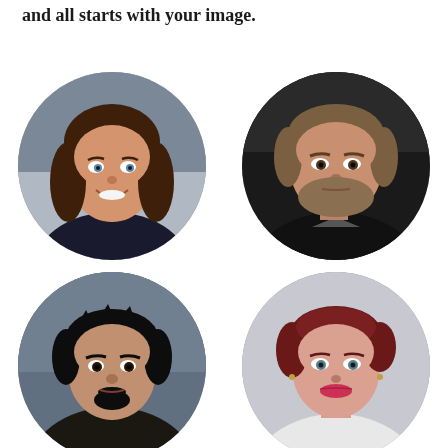and all starts with your image.
[Figure (photo): Circular portrait photo of a woman with brown shoulder-length hair, smiling, wearing a dark top]
[Figure (photo): Circular portrait photo of a man with light brown hair and beard, serious expression, wearing dark clothing]
[Figure (photo): Circular portrait photo of a young man with dark hair and goatee, wearing a dark shirt, outdoor background]
[Figure (photo): Circular portrait photo of a woman with short red/auburn hair, wearing a light top, neutral expression]